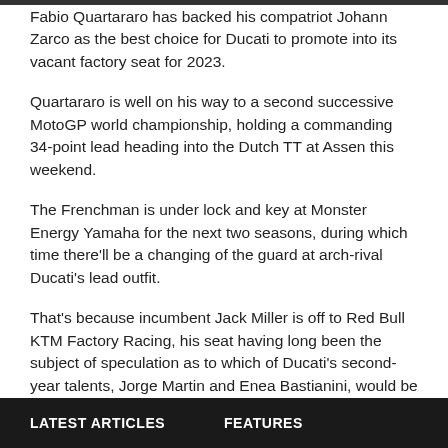Fabio Quartararo has backed his compatriot Johann Zarco as the best choice for Ducati to promote into its vacant factory seat for 2023.
Quartararo is well on his way to a second successive MotoGP world championship, holding a commanding 34-point lead heading into the Dutch TT at Assen this weekend.
The Frenchman is under lock and key at Monster Energy Yamaha for the next two seasons, during which time there'll be a changing of the guard at arch-rival Ducati's lead outfit.
That's because incumbent Jack Miller is off to Red Bull KTM Factory Racing, his seat having long been the subject of speculation as to which of Ducati's second-year talents, Jorge Martin and Enea Bastianini, would be placed alongside the under-contract Francesco Bagnaia.
LATEST ARTICLES   FEATURES